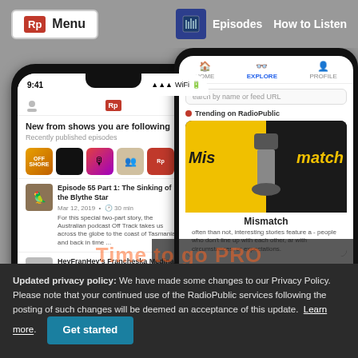[Figure (screenshot): RadioPublic website and app screenshot showing menu navigation bar at top with Rp logo and Menu button on left, podcast app icon and Episodes/How to Listen links on right. Two phone screenshots showing the RadioPublic app interface: left phone shows 'New from shows you are following' feed with podcast icons and episode listings including 'Episode 55 Part 1: The Sinking of the Blythe Star' and 'HeyFranHey's Francheska Medina'. Right phone shows Explore tab with 'Trending on RadioPublic' section featuring 'Mismatch' podcast. 'Time to go PRO' text overlaid in orange.]
Updated privacy policy: We have made some changes to our Privacy Policy. Please note that your continued use of the RadioPublic services following the posting of such changes will be deemed an acceptance of this update. Learn more. Get started.